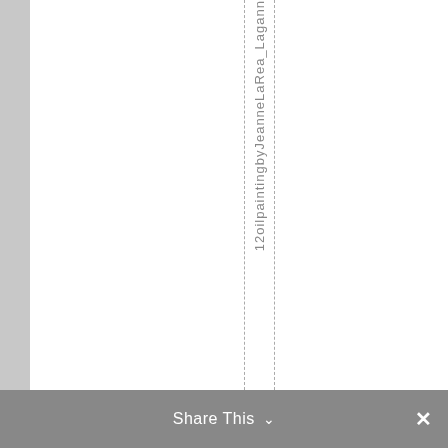[Figure (other): Screenshot of a webpage showing a vertical text watermark or label reading '12oil painting by Jeanne LaRea_Lagann' with dashed vertical guide lines on either side, set against a white background with a left gray panel. A 'Share This' toolbar appears at the bottom.]
12oilpaintingbyJeanneLaRea_Lagann
Share This ∨  ✕